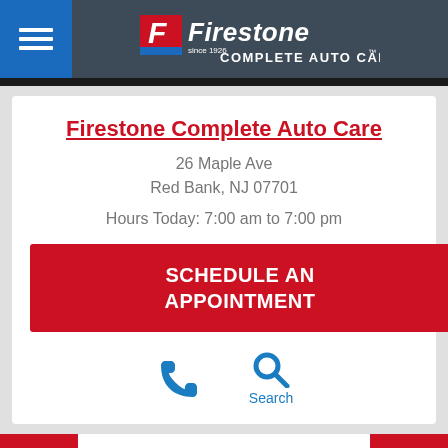[Figure (logo): Firestone Complete Auto Care logo with hamburger menu icon on blue background, logo on dark grey header]
Firestone Complete Auto Care
26 Maple Ave
Red Bank, NJ 07701
Hours Today: 7:00 am to 7:00 pm
SCHEDULE AN APPOINTMENT
[Figure (illustration): Phone icon (blue) and Search icon (blue magnifying glass) with label 'Search']
More Locations
Tire Offers